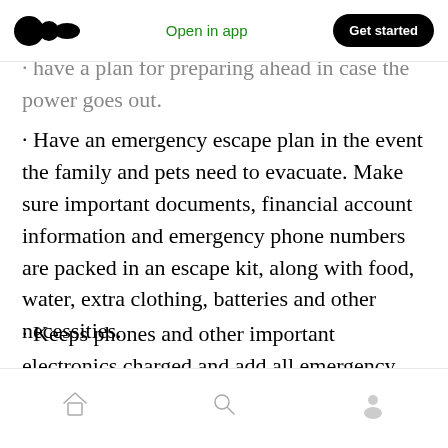Open in app | Get started
· have a plan for preparing ahead in case the power goes out.
· Have an emergency escape plan in the event the family and pets need to evacuate. Make sure important documents, financial account information and emergency phone numbers are packed in an escape kit, along with food, water, extra clothing, batteries and other necessities.
· Keeps phones and other important electronics charged and add all emergency phone numbers to all phones.
Home | Search | Profile